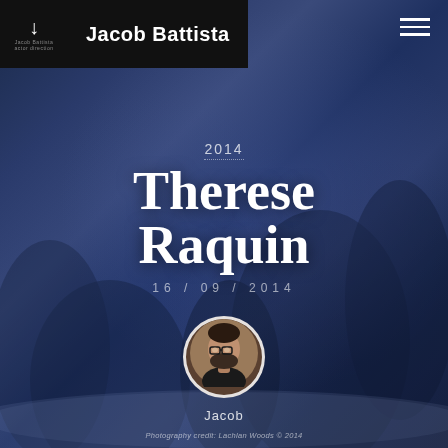Jacob Battista
Therese Raquin
2014
16 / 09 / 2014
[Figure (photo): Circular avatar photo of Jacob Battista, a bearded man with glasses]
Jacob
Photography credit: Lachlan Woods © 2014